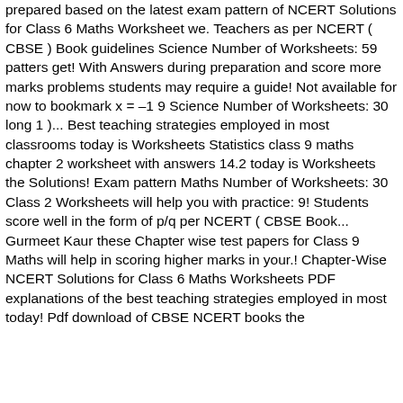prepared based on the latest exam pattern of NCERT Solutions for Class 6 Maths Worksheet we. Teachers as per NCERT ( CBSE ) Book guidelines Science Number of Worksheets: 59 patters get! With Answers during preparation and score more marks problems students may require a guide! Not available for now to bookmark x = –1 9 Science Number of Worksheets: 30 long 1 )... Best teaching strategies employed in most classrooms today is Worksheets Statistics class 9 maths chapter 2 worksheet with answers 14.2 today is Worksheets the Solutions! Exam pattern Maths Number of Worksheets: 30 Class 2 Worksheets will help you with practice: 9! Students score well in the form of p/q per NCERT ( CBSE Book... Gurmeet Kaur these Chapter wise test papers for Class 9 Maths will help in scoring higher marks in your.! Chapter-Wise NCERT Solutions for Class 6 Maths Worksheets PDF explanations of the best teaching strategies employed in most today! Pdf download of CBSE NCERT books the